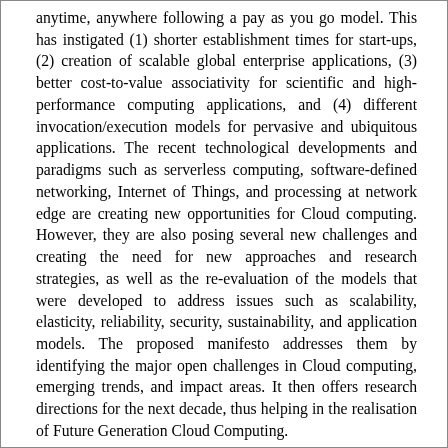anytime, anywhere following a pay as you go model. This has instigated (1) shorter establishment times for start-ups, (2) creation of scalable global enterprise applications, (3) better cost-to-value associativity for scientific and high-performance computing applications, and (4) different invocation/execution models for pervasive and ubiquitous applications. The recent technological developments and paradigms such as serverless computing, software-defined networking, Internet of Things, and processing at network edge are creating new opportunities for Cloud computing. However, they are also posing several new challenges and creating the need for new approaches and research strategies, as well as the re-evaluation of the models that were developed to address issues such as scalability, elasticity, reliability, security, sustainability, and application models. The proposed manifesto addresses them by identifying the major open challenges in Cloud computing, emerging trends, and impact areas. It then offers research directions for the next decade, thus helping in the realisation of Future Generation Cloud Computing.